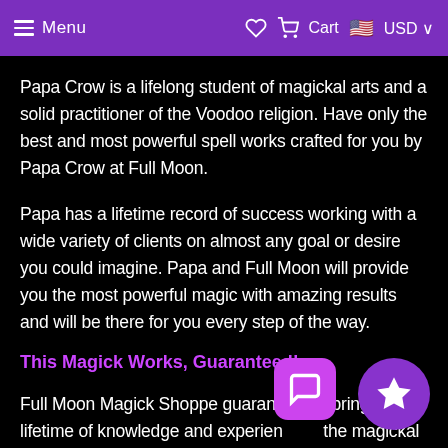≡ Menu  ♡  Cart  🇺🇸 USD ∨
Papa Crow is a lifelong student of magickal arts and a solid practitioner of the Voodoo religion. Have only the best and most powerful spell works crafted for you by Papa Crow at Full Moon.
Papa has a lifetime record of success working with a wide variety of clients on almost any goal or desire you could imagine. Papa and Full Moon will provide you the most powerful magic with amazing results and will be there for you every step of the way.
This Magick Works, Guaranteed!
Full Moon Magick Shoppe guarant… bring a lifetime of knowledge and experien… the magickal